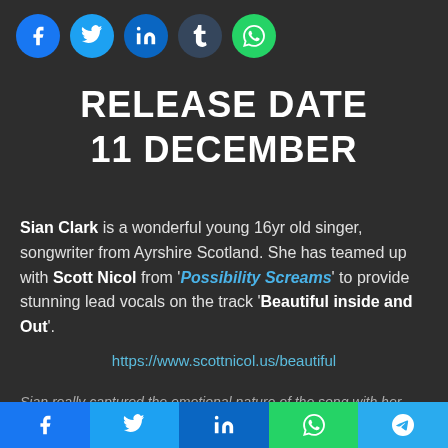[Figure (infographic): Row of five social media share buttons (circles): Facebook, Twitter, LinkedIn, Tumblr, WhatsApp]
RELEASE DATE
11 DECEMBER
Sian Clark is a wonderful young 16yr old singer, songwriter from Ayrshire Scotland. She has teamed up with Scott Nicol from 'Possibility Screams' to provide stunning lead vocals on the track 'Beautiful inside and Out'.
https://www.scottnicol.us/beautiful
Sian really captured the emotional nature of the song with her
[Figure (infographic): Bottom share bar with five buttons: Facebook (blue), Twitter (light blue), LinkedIn (dark blue), WhatsApp (green), Telegram (light blue)]